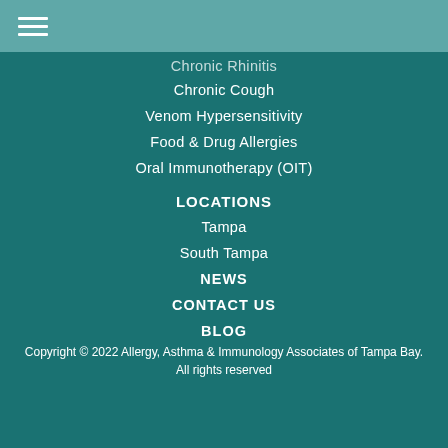☰ (hamburger menu)
Chronic Rhinitis
Chronic Cough
Venom Hypersensitivity
Food & Drug Allergies
Oral Immunotherapy (OIT)
LOCATIONS
Tampa
South Tampa
NEWS
CONTACT US
BLOG
Copyright © 2022 Allergy, Asthma & Immunology Associates of Tampa Bay. All rights reserved